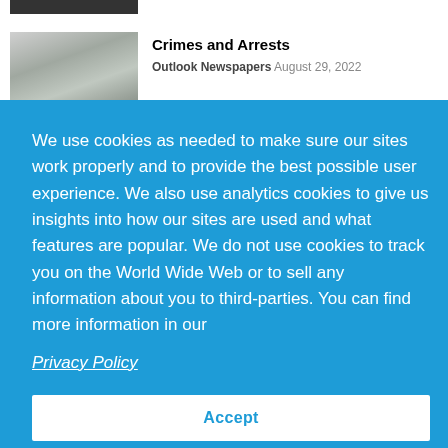[Figure (photo): Dark banner/image strip at top]
[Figure (photo): Mountain landscape thumbnail image]
Crimes and Arrests
Outlook Newspapers   August 29, 2022
We use cookies as needed to make sure our sites work properly and to provide the best possible user experience. We also use analytics cookies to give us insights into how our sites are used and what features are popular. We do not use cookies to track you on the World Wide Web or to sell any information about you to third-parties. You can find more information in our
Privacy Policy
Accept
Learn more
Adventist Health